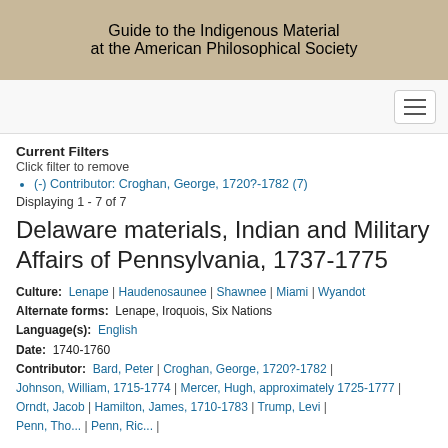GUIDE TO THE INDIGENOUS MATERIAL AT THE AMERICAN PHILOSOPHICAL SOCIETY
Current Filters
Click filter to remove
(-) Contributor: Croghan, George, 1720?-1782 (7)
Displaying 1 - 7 of 7
Delaware materials, Indian and Military Affairs of Pennsylvania, 1737-1775
Culture: Lenape | Haudenosaunee | Shawnee | Miami | Wyandot
Alternate forms: Lenape, Iroquois, Six Nations
Language(s): English
Date: 1740-1760
Contributor: Bard, Peter | Croghan, George, 1720?-1782 | Johnson, William, 1715-1774 | Mercer, Hugh, approximately 1725-1777 | Orndt, Jacob | Hamilton, James, 1710-1783 | Trump, Levi | Penn, Thomas 1702-1775 | Penn, Richard, 1706-1771 |